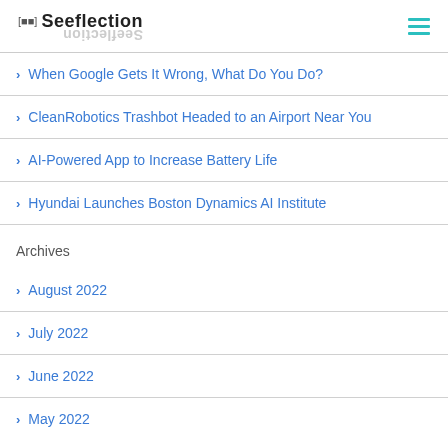Seeflection
When Google Gets It Wrong, What Do You Do?
CleanRobotics Trashbot Headed to an Airport Near You
AI-Powered App to Increase Battery Life
Hyundai Launches Boston Dynamics AI Institute
Archives
August 2022
July 2022
June 2022
May 2022